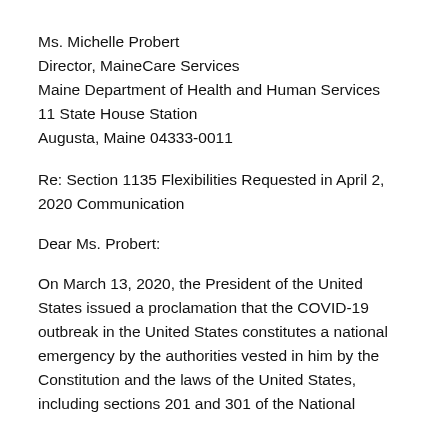Ms. Michelle Probert
Director, MaineCare Services
Maine Department of Health and Human Services
11 State House Station
Augusta, Maine 04333-0011
Re: Section 1135 Flexibilities Requested in April 2, 2020 Communication
Dear Ms. Probert:
On March 13, 2020, the President of the United States issued a proclamation that the COVID-19 outbreak in the United States constitutes a national emergency by the authorities vested in him by the Constitution and the laws of the United States, including sections 201 and 301 of the National